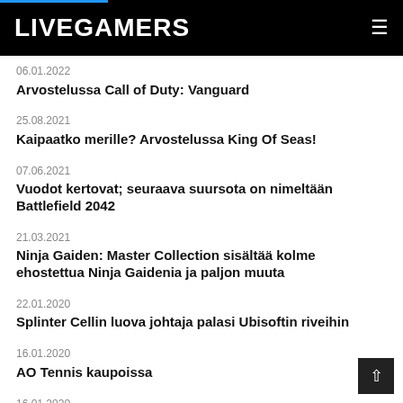LIVEGAMERS
06.01.2022
Arvostelussa Call of Duty: Vanguard
25.08.2021
Kaipaatko merille? Arvostelussa King Of Seas!
07.06.2021
Vuodot kertovat; seuraava suursota on nimeltään Battlefield 2042
21.03.2021
Ninja Gaiden: Master Collection sisältää kolme ehostettua Ninja Gaidenia ja paljon muuta
22.01.2020
Splinter Cellin luova johtaja palasi Ubisoftin riveihin
16.01.2020
AO Tennis kaupoissa
16.01.2020
Resident Evil 3 remake huhtikuussa